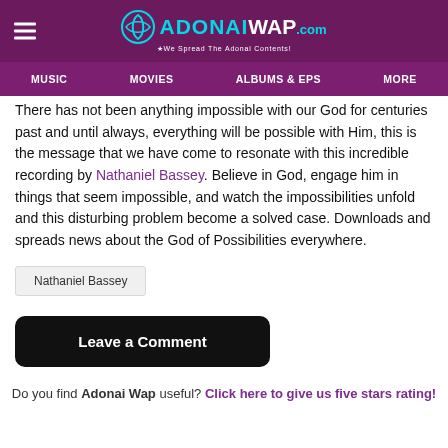ADONAIWAP.com - We Spread The Adonai Contents!
MUSIC | MOVIES | ALBUMS & EPS | MORE
There has not been anything impossible with our God for centuries past and until always, everything will be possible with Him, this is the message that we have come to resonate with this incredible recording by Nathaniel Bassey. Believe in God, engage him in things that seem impossible, and watch the impossibilities unfold and this disturbing problem become a solved case. Downloads and spreads news about the God of Possibilities everywhere.
Nathaniel Bassey
Leave a Comment
Do you find Adonai Wap useful? Click here to give us five stars rating!